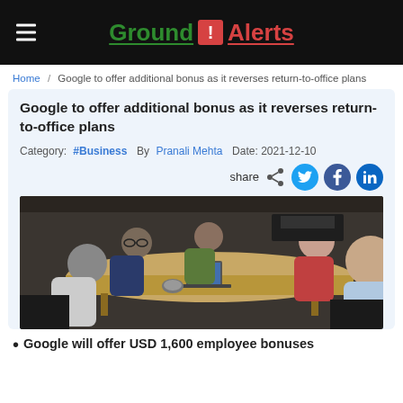Ground ! Alerts
Home / Google to offer additional bonus as it reverses return-to-office plans
Google to offer additional bonus as it reverses return-to-office plans
Category: #Business  By Pranali Mehta  Date: 2021-12-10
[Figure (photo): Group of men sitting around a conference table in an office setting, with a laptop on the table.]
Google will offer USD 1,600 employee bonuses